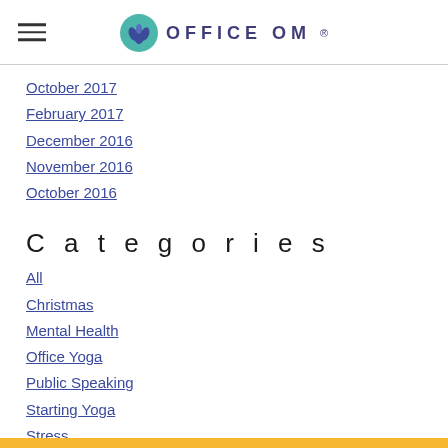OFFICE OM
October 2017
February 2017
December 2016
November 2016
October 2016
Categories
All
Christmas
Mental Health
Office Yoga
Public Speaking
Starting Yoga
Stress
Wellbeing
Yoga